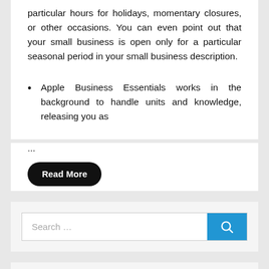particular hours for holidays, momentary closures, or other occasions. You can even point out that your small business is open only for a particular seasonal period in your small business description.
Apple Business Essentials works in the background to handle units and knowledge, releasing you as
...
Read More
[Figure (other): Search bar with text input placeholder 'Search ...' and a blue search button with magnifying glass icon]
RECENT POSTS